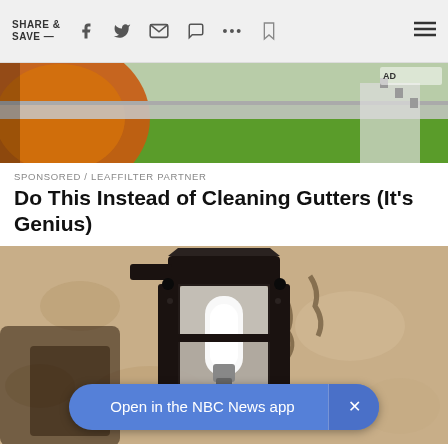SHARE & SAVE —
[Figure (photo): Close-up photo of orange/red gutter guard and green grass visible in background]
SPONSORED / LEAFFILTER PARTNER
Do This Instead of Cleaning Gutters (It's Genius)
[Figure (photo): Close-up photo of a black outdoor wall light fixture mounted on a textured stucco wall]
Open in the NBC News app